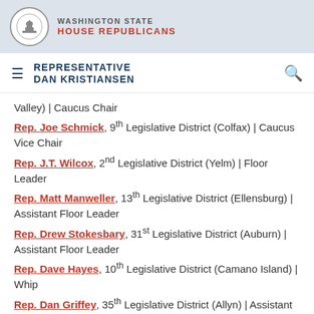WASHINGTON STATE HOUSE REPUBLICANS
REPRESENTATIVE DAN KRISTIANSEN
Valley) | Caucus Chair
Rep. Joe Schmick, 9th Legislative District (Colfax) | Caucus Vice Chair
Rep. J.T. Wilcox, 2nd Legislative District (Yelm) | Floor Leader
Rep. Matt Manweller, 13th Legislative District (Ellensburg) | Assistant Floor Leader
Rep. Drew Stokesbary, 31st Legislative District (Auburn) | Assistant Floor Leader
Rep. Dave Hayes, 10th Legislative District (Camano Island) | Whip
Rep. Dan Griffey, 35th Legislative District (Allyn) | Assistant Whip
Rep. Bill Jenkin, 16th Legislative District (Prosser) | Assistant Whip